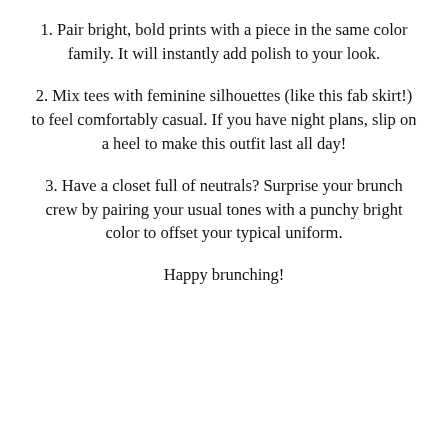1. Pair bright, bold prints with a piece in the same color family. It will instantly add polish to your look.
2. Mix tees with feminine silhouettes (like this fab skirt!) to feel comfortably casual. If you have night plans, slip on a heel to make this outfit last all day!
3. Have a closet full of neutrals? Surprise your brunch crew by pairing your usual tones with a punchy bright color to offset your typical uniform.
Happy brunching!